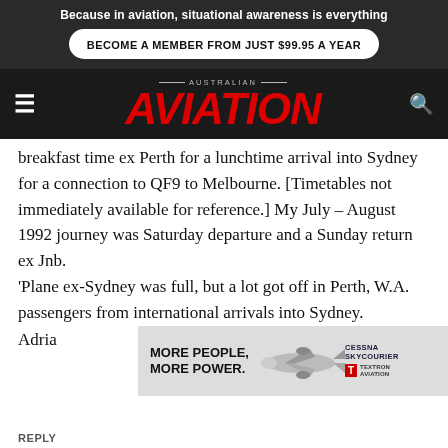Because in aviation, situational awareness is everything
BECOME A MEMBER FROM JUST $99.95 A YEAR
AUSTRALIAN AVIATION
breakfast time ex Perth for a lunchtime arrival into Sydney for a connection to QF9 to Melbourne. [Timetables not immediately available for reference.] My July – August 1992 journey was Saturday departure and a Sunday return ex Jnb. 'Plane ex-Sydney was full, but a lot got off in Perth, W.A. passengers from international arrivals into Sydney.
Adria
[Figure (infographic): Cessna Skycourier advertisement: MORE PEOPLE. MORE POWER. with aircraft silhouette and Cessna Skycourier / Textron Aviation logos]
REPLY